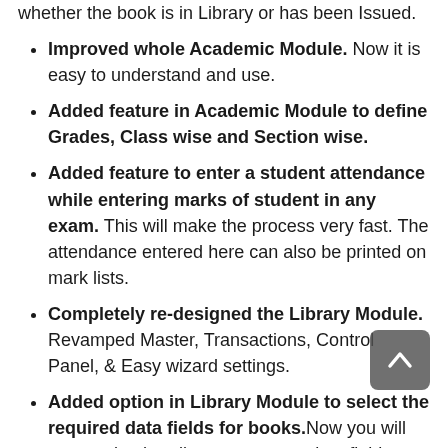whether the book is in Library or has been Issued.
Improved whole Academic Module. Now it is easy to understand and use.
Added feature in Academic Module to define Grades, Class wise and Section wise.
Added feature to enter a student attendance while entering marks of student in any exam. This will make the process very fast. The attendance entered here can also be printed on mark lists.
Completely re-designed the Library Module. Revamped Master, Transactions, Control Panel, & Easy wizard settings.
Added option in Library Module to select the required data fields for books. Now you will not need to handle unnecessary data fields.
Improved Issue Books feature of Library Module. Now you can view the already issued...